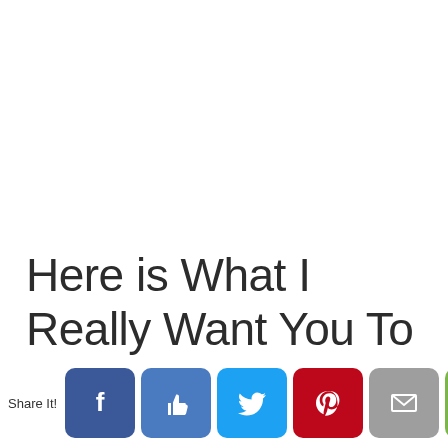Here is What I Really Want You To Hear Me Saying Today:
Desserts, treats, and sweets? Whether we're adding
[Figure (screenshot): Social share bar with Facebook, Like, Twitter, Pinterest, Email, Print, and Crown buttons]